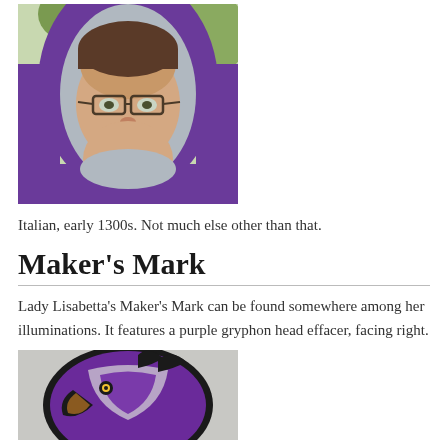[Figure (photo): Person wearing a purple and grey medieval-style hood/coif, with glasses, photographed outdoors]
Italian, early 1300s. Not much else other than that.
Maker's Mark
Lady Lisabetta's Maker's Mark can be found somewhere among her illuminations. It features a purple gryphon head effacer, facing right.
[Figure (photo): A purple and black gryphon head emblem/badge, with white stripe, on a grey background]